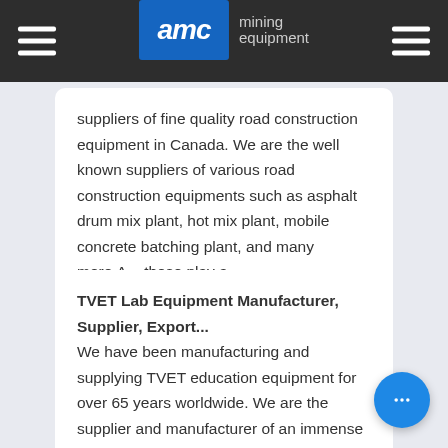AMC mining equipment
suppliers of fine quality road construction equipment in Canada. We are the well known suppliers of various road construction equipments such as asphalt drum mix plant, hot mix plant, mobile concrete batching plant, and many more.A... these play a ...
TVET Lab Equipment Manufacturer, Supplier, Export...
We have been manufacturing and supplying TVET education equipment for over 65 years worldwide. We are the supplier and manufacturer of an immense collection of TVET lab instruments mainly used in TVET training. Our head office is located in